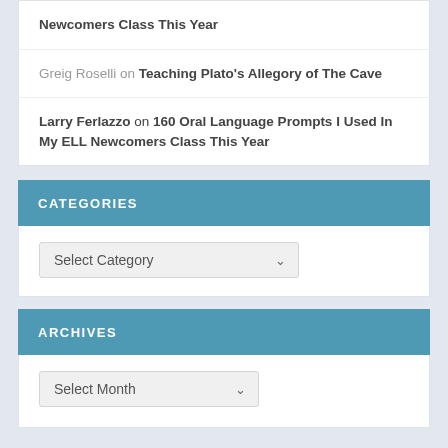Newcomers Class This Year
Greig Roselli on Teaching Plato's Allegory of The Cave
Larry Ferlazzo on 160 Oral Language Prompts I Used In My ELL Newcomers Class This Year
CATEGORIES
Select Category
ARCHIVES
Select Month